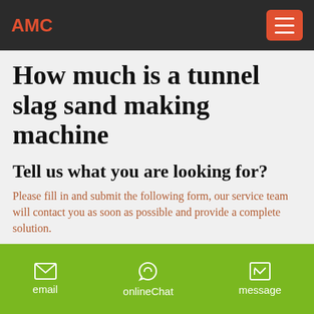AMC
How much is a tunnel slag sand making machine
Tell us what you are looking for?
Please fill in and submit the following form, our service team will contact you as soon as possible and provide a complete solution.
Name:
As: Tom
Email: *
email    onlineChat    message